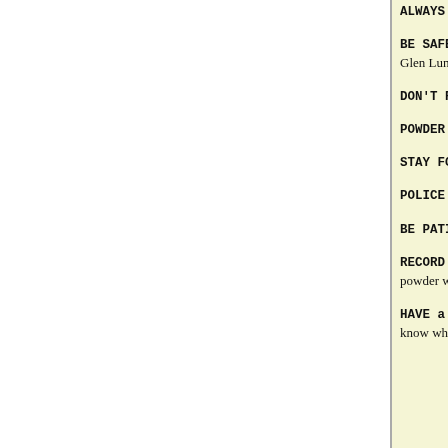ALWAYS START LOW: "Just because a load manual could reach max pressure a grain or two before what..."
BE SAFE: "Check and double check. Everything. Eve..." — Glen Lundgren
DON'T RUSH: "Be patient, don't be in a hurry, have yourself in 'time-out'. They will understand." — Erik D
POWDER RULE #1: "One powder on the bench at o..."
STAY FOCUSED: "Relaxed but concentrated attenti... focused." — Jim Caldwell
POLICE LOADING AREA: "Keep your reloading ben..."
BE PATIENT: "Focus, Focus, Focus — be patient — ..."
RECORD YOUR LOADS: "Write down on a small ca... of powder, and primer. And put it in the powder ho... powder was in the hopper." — Michael Conniff
HAVE a PROCEDURE for INTERRUPTIONS: "If, ... process of dropping powder charges, turn the next c... know where you left off." — Bill Tinsley